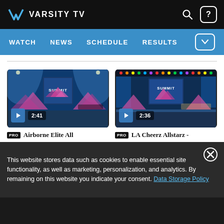VARSITY TV — WATCH | NEWS | SCHEDULE | RESULTS
[Figure (screenshot): Varsity TV website screenshot showing two video thumbnails of cheerleading competition at The Summit event. Left video: Airborne Elite All, duration 2:41. Right video: LA Cheerz Allstarz, duration 2:36. Both tagged PRO. Cookie consent banner at bottom.]